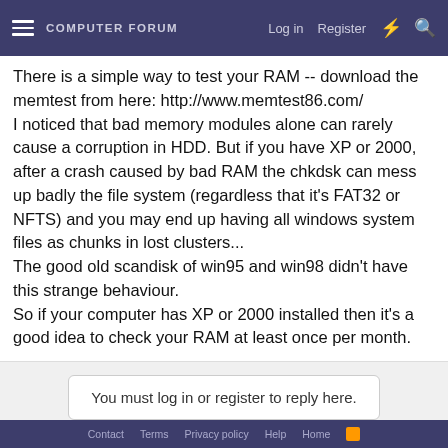COMPUTER FORUM | Log in | Register
There is a simple way to test your RAM -- download the memtest from here: http://www.memtest86.com/
I noticed that bad memory modules alone can rarely cause a corruption in HDD. But if you have XP or 2000, after a crash caused by bad RAM the chkdsk can mess up badly the file system (regardless that it's FAT32 or NFTS) and you may end up having all windows system files as chunks in lost clusters...
The good old scandisk of win95 and win98 didn't have this strange behaviour.
So if your computer has XP or 2000 installed then it's a good idea to check your RAM at least once per month.
You must log in or register to reply here.
Share:
Computer Memory and Hard Drives
Contact | Terms | Privacy policy | Help | Home